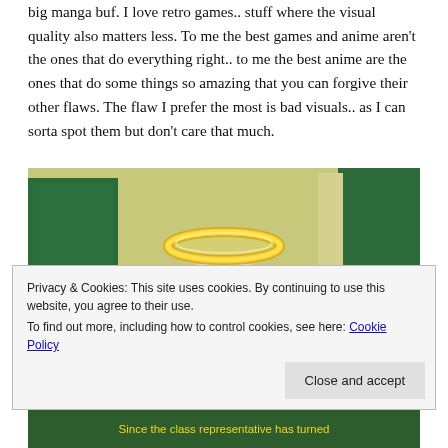big manga buf. I love retro games.. stuff where the visual quality also matters less. To me the best games and anime aren't the ones that do everything right.. to me the best anime are the ones that do some things so amazing that you can forgive their other flaws. The flaw I prefer the most is bad visuals.. as I can sorta spot them but don't care that much.
[Figure (photo): Anime screenshot showing a character with white/silver hair and a golden halo floating above their head, viewed from behind, in a classroom-like setting with green boards/walls visible.]
Privacy & Cookies: This site uses cookies. By continuing to use this website, you agree to their use.
To find out more, including how to control cookies, see here: Cookie Policy
Close and accept
Since the class representative has turned